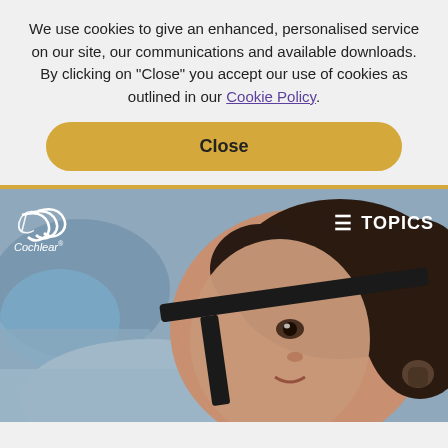We use cookies to give an enhanced, personalised service on our site, our communications and available downloads. By clicking on "Close" you accept our use of cookies as outlined in our Cookie Policy.
Close
[Figure (photo): A baby/toddler wearing a black headband with a cochlear implant device, looking upward and slightly smiling. The Cochlear brand logo and 'TOPICS' navigation are overlaid on the image.]